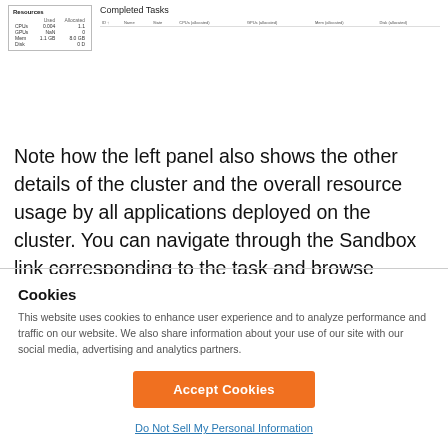[Figure (screenshot): Screenshot showing a Resources panel on the left with a table of CPUs, GPUs, Mem, Disk (Used/Allocated values), and a Completed Tasks panel on the right with a table header row showing columns: ID, Name, State, CPUs (allocated), GPUs (allocated), Mem (allocated), Disk (allocated).]
Note how the left panel also shows the other details of the cluster and the overall resource usage by all applications deployed on the cluster. You can navigate through the Sandbox link corresponding to the task and browse through the various log files that your application generates.
Cookies
This website uses cookies to enhance user experience and to analyze performance and traffic on our website. We also share information about your use of our site with our social media, advertising and analytics partners.
Accept Cookies
Do Not Sell My Personal Information